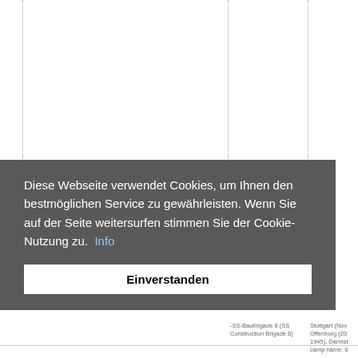[Figure (screenshot): Table with dotted column dividers, mostly empty/cropped, with partial text visible in bottom rows: 'SS-Baubrigade 8 (SS Construction Brigade 8)' and 'Stuttgart (Nov... Offenburg (20... 1945), Darmst... camp name: 8...']
Diese Webseite verwendet Cookies, um Ihnen den bestmöglichen Service zu gewährleisten. Wenn Sie auf der Seite weitersurfen stimmen Sie der Cookie-Nutzung zu.  Info
Einverstanden